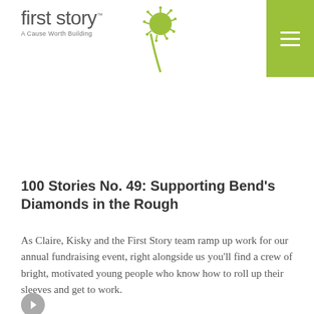[Figure (logo): First Story logo with dandelion icon and tagline 'A Cause Worth Building']
100 Stories No. 49: Supporting Bend's Diamonds in the Rough
As Claire, Kisky and the First Story team ramp up work for our annual fundraising event, right alongside us you'll find a crew of bright, motivated young people who know how to roll up their sleeves and get to work.